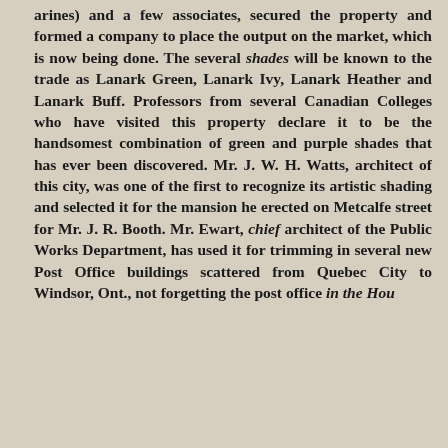arines) and a few associates, secured the property and formed a company to place the output on the market, which is now being done. The several shades will be known to the trade as Lanark Green, Lanark Ivy, Lanark Heather and Lanark Buff. Professors from several Canadian Colleges who have visited this property declare it to be the handsomest combination of green and purple shades that has ever been discovered. Mr. J. W. H. Watts, architect of this city, was one of the first to recognize its artistic shading and selected it for the mansion he erected on Metcalfe street for Mr. J. R. Booth. Mr. Ewart, chief architect of the Public Works Department, has used it for trimming in several new Post Office buildings scattered from Quebec City to Windsor, Ont., not forgetting the post office in the Hou...